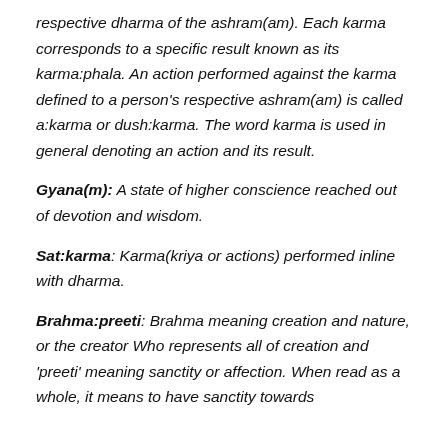respective dharma of the ashram(am). Each karma corresponds to a specific result known as its karma:phala. An action performed against the karma defined to a person's respective ashram(am) is called a:karma or dush:karma. The word karma is used in general denoting an action and its result.
Gyana(m): A state of higher conscience reached out of devotion and wisdom.
Sat:karma: Karma(kriya or actions) performed inline with dharma.
Brahma:preeti: Brahma meaning creation and nature, or the creator Who represents all of creation and 'preeti' meaning sanctity or affection. When read as a whole, it means to have sanctity towards